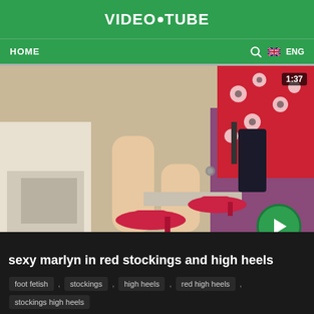VIDEO•TUBE
HOME  🔍  ENG
[Figure (screenshot): Video thumbnail showing a woman's legs in red high heels and a red floral dress, seated in a purple chair. Duration badge shows 1:37. Green play button overlay at bottom right.]
sexy marlyn in red stockings and high heels
foot fetish , stockings , high heels , red high heels , stockings high heels
👁 1544 views